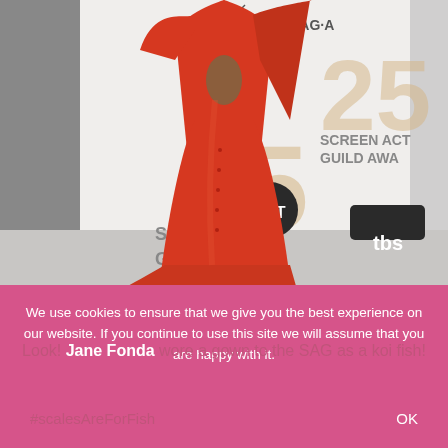[Figure (photo): Person wearing a red satin gown with cape sleeves at the Screen Actors Guild Awards red carpet, with SAG-A (SAG Awards) backdrop showing TNT, TBS logos and '25' branding and 'SCREEN ACTORS GUILD AWARDS' text. Person is posed in front of the step-and-repeat backdrop.]
We use cookies to ensure that we give you the best experience on our website. If you continue to use this site we will assume that you are happy with it.
Look! Jane Fonda wore a gown to the SAG as a koi fish!
#scalesAreForFish
OK